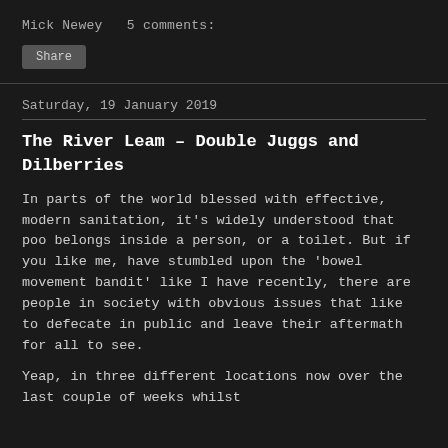Mick Newey  5 comments:
Share
Saturday, 19 January 2019
The River Leam – Double Juggs and Dilberries
In parts of the world blessed with effective, modern sanitation, it's widely understood that poo belongs inside a person, or a toilet. But if you like me, have stumbled upon the 'bowel movement bandit' like I have recently, there are people in society with obvious issues that like to defecate in public and leave their aftermath for all to see.
Yeap, in three different locations now over the last couple of weeks whilst